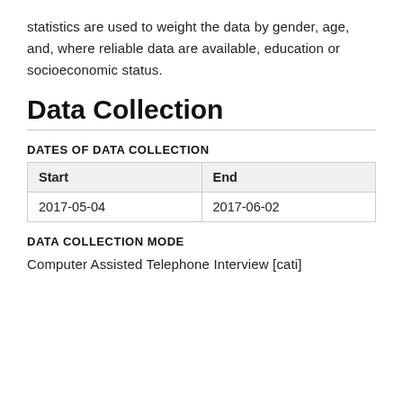statistics are used to weight the data by gender, age, and, where reliable data are available, education or socioeconomic status.
Data Collection
DATES OF DATA COLLECTION
| Start | End |
| --- | --- |
| 2017-05-04 | 2017-06-02 |
DATA COLLECTION MODE
Computer Assisted Telephone Interview [cati]